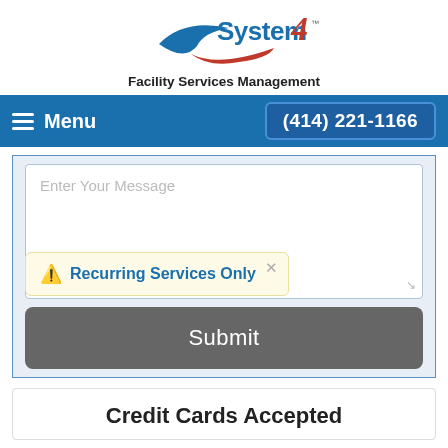[Figure (logo): System4 Facility Services Management logo with blue and red swoosh graphics]
Facility Services Management
Menu   (414) 221-1166
Enter Your Message
⚠ Recurring Services Only
Submit
Credit Cards Accepted